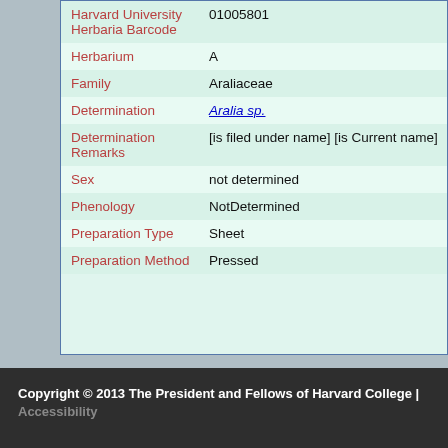| Field | Value |
| --- | --- |
| Harvard University Herbaria Barcode | 01005801 |
| Herbarium | A |
| Family | Araliaceae |
| Determination | Aralia sp. |
| Determination Remarks | [is filed under name] [is Current name] |
| Sex | not determined |
| Phenology | NotDetermined |
| Preparation Type | Sheet |
| Preparation Method | Pressed |
Copyright © 2013 The President and Fellows of Harvard College | Accessibility